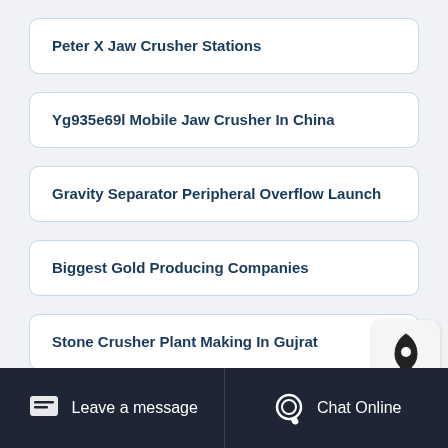Peter X Jaw Crusher Stations
Yg935e69l Mobile Jaw Crusher In China
Gravity Separator Peripheral Overflow Launch
Biggest Gold Producing Companies
Stone Crusher Plant Making In Gujrat
Leave a message   Chat Online